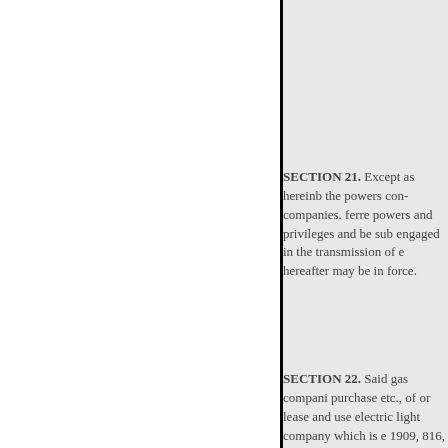SECTION 21. Except as hereinb the powers con- companies. ferre powers and privileges and be sub engaged in the transmission of e hereafter may be in force.
SECTION 22. Said gas compani purchase etc., of or lease and use electric light company which is e 1909, 816, in the territory in whi power.